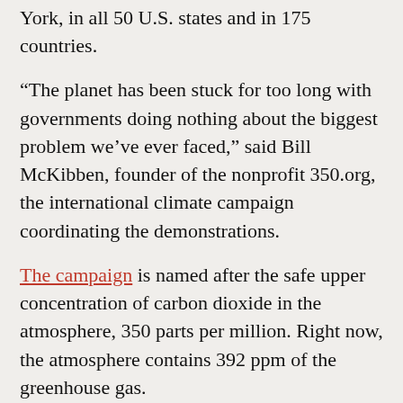York, in all 50 U.S. states and in 175 countries.
“The planet has been stuck for too long with governments doing nothing about the biggest problem we’ve ever faced,” said Bill McKibben, founder of the nonprofit 350.org, the international climate campaign coordinating the demonstrations.
The campaign is named after the safe upper concentration of carbon dioxide in the atmosphere, 350 parts per million. Right now, the atmosphere contains 392 ppm of the greenhouse gas.